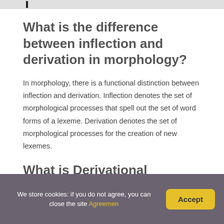What is the difference between inflection and derivation in morphology?
In morphology, there is a functional distinction between inflection and derivation. Inflection denotes the set of morphological processes that spell out the set of word forms of a lexeme. Derivation denotes the set of morphological processes for the creation of new lexemes.
What is Derivational morphology in English
We store cookies: if you do not agree, you can close the site Agreemen